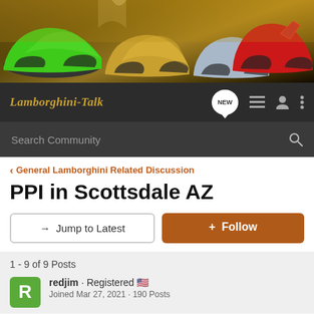[Figure (photo): Lamborghini-Talk forum banner showing multiple Lamborghini sports cars in green, gold, silver, and red against an architectural backdrop]
Lamborghini-Talk | NEW | navigation icons
Search Community
< General Lamborghini Related Discussion
PPI in Scottsdale AZ
→ Jump to Latest
+ Follow
1 - 9 of 9 Posts
redjim · Registered 🇺🇸
Joined Mar 27, 2021 · 190 Posts